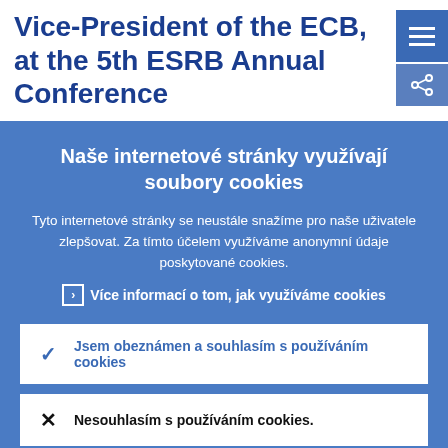Vice-President of the ECB, at the 5th ESRB Annual Conference
Naše internetové stránky využívají soubory cookies
Tyto internetové stránky se neustále snažíme pro naše uživatele zlepšovat. Za tímto účelem využíváme anonymní údaje poskytované cookies.
› Více informací o tom, jak využíváme cookies
✓ Jsem obeznámen a souhlasím s používáním cookies
✗ Nesouhlasím s používáním cookies.